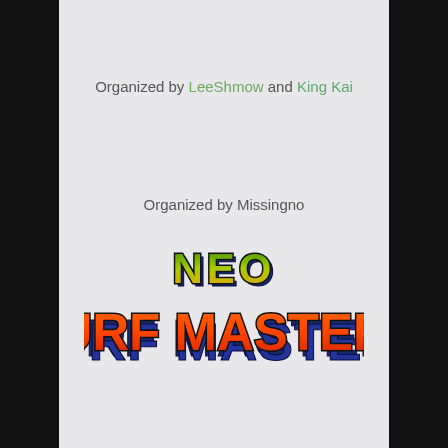Organized by LeeShmow and King Kai
Organized by Missingno
[Figure (logo): Neo Turf Masters logo with stylized text. 'NEO' in green/yellow gradient with dark outline on top, 'TURF MASTERS' in large orange/red gradient letters with dark outline below, blue shadow/3D effect underneath.]